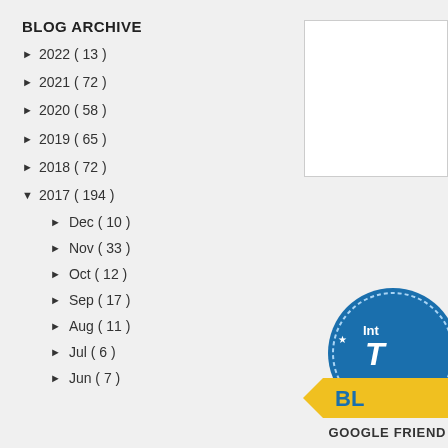BLOG ARCHIVE
► 2022 ( 13 )
► 2021 ( 72 )
► 2020 ( 58 )
► 2019 ( 65 )
► 2018 ( 72 )
▼ 2017 ( 194 )
► Dec ( 10 )
► Nov ( 33 )
► Oct ( 12 )
► Sep ( 17 )
► Aug ( 11 )
► Jul ( 6 )
► Jun ( 7 )
[Figure (other): White box / widget placeholder in top right]
[Figure (illustration): Circular blue badge with yellow ribbon banner showing partial text 'Int T BL' - appears to be a blog award badge]
GOOGLE FRIEND